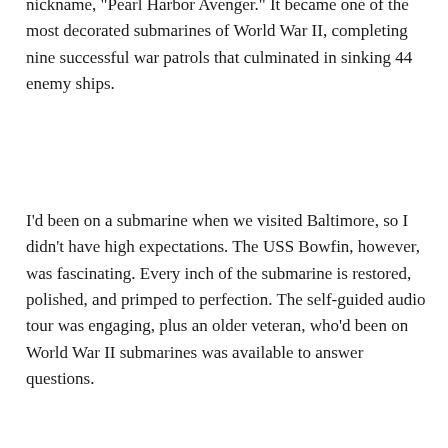nickname, "Pearl Harbor Avenger." It became one of the most decorated submarines of World War II, completing nine successful war patrols that culminated in sinking 44 enemy ships.
I'd been on a submarine when we visited Baltimore, so I didn't have high expectations. The USS Bowfin, however, was fascinating. Every inch of the submarine is restored, polished, and primped to perfection. The self-guided audio tour was engaging, plus an older veteran, who'd been on World War II submarines was available to answer questions.
Nearly every member of the 80-member crew on the USS Bowfin smoked, didn't take showers for months at a time, and shared bunks in the 312-feet long by 27-feet wide submarine, armed with an array of guns, including up to 24 torpedoes, which were loaded by hand.